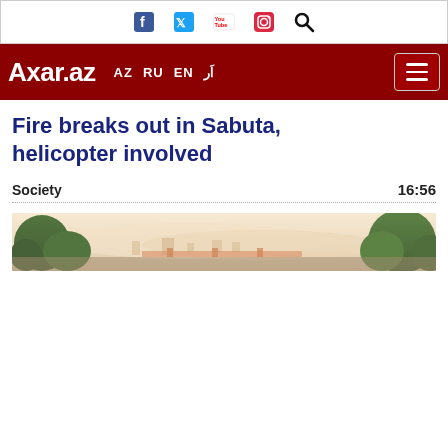Social icons bar: Facebook, Twitter, YouTube, Instagram, Search
Axar.az — AZ RU EN AR navigation with hamburger menu
Fire breaks out in Sabuta, helicopter involved
Society   16:56
[Figure (photo): Landscape photo showing a hazy sky over a scene with trees and structures visible, likely the fire scene near Sabuta]